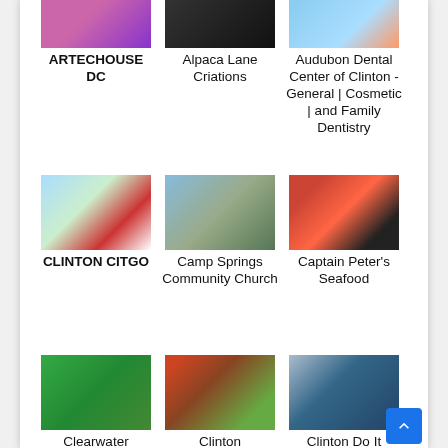[Figure (photo): Thumbnail image for ARTECHOUSE DC]
ARTECHOUSE DC
[Figure (photo): Thumbnail image for Alpaca Lane Criations]
Alpaca Lane Criations
[Figure (photo): Thumbnail image for Audubon Dental Center of Clinton - General | Cosmetic | and Family Dentistry]
Audubon Dental Center of Clinton - General | Cosmetic | and Family Dentistry
[Figure (photo): Thumbnail image for CLINTON CITGO]
CLINTON CITGO
[Figure (photo): Thumbnail image for Camp Springs Community Church]
Camp Springs Community Church
[Figure (photo): Thumbnail image for Captain Peter's Seafood]
Captain Peter's Seafood
[Figure (photo): Thumbnail image for Clearwater]
Clearwater
[Figure (photo): Thumbnail image for Clinton]
Clinton
[Figure (photo): Thumbnail image for Clinton Do It]
Clinton Do It